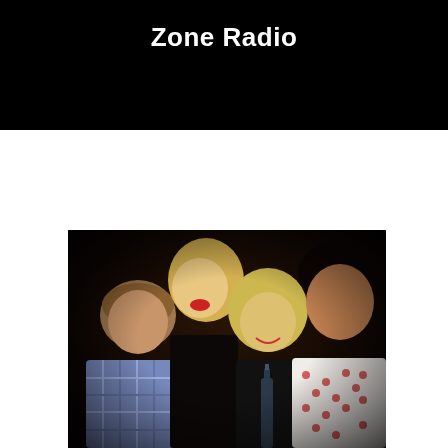Zone Radio
[Figure (photo): Four people at a party laughing and grimacing expressively. From left: a man in a checked/plaid shirt with head bowed, a blonde woman in a strapless black top with head thrown back laughing, another blonde woman hunching forward grimacing, and a man on the right in a white patterned shirt. A dark bottle is visible in the foreground center. The photo has a dark, nighttime party atmosphere.]